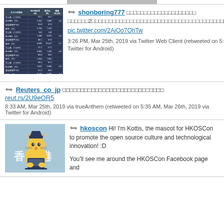[Figure (screenshot): Top gray bar clipped at top of page]
[Figure (table-as-image): Japanese hotel/financial data table with dark background showing 売上高, RevPAR, 客室稼働率, ADR columns for 2019年2月 and 前月比]
shonboring777 〇〇〇〇〇〇〇〇〇〇〇〇〇〇〇〇〇〇〇2〇〇〇〇〇〇〇〇〇〇〇〇〇〇〇〇〇〇〇〇〇〇〇〇〇〇〇〇〇〇〇〇〇〇〇〇〇〇〇〇〇〇〇〇〇〇〇〇〇〇〇〇〇〇〇 pic.twitter.com/2AiOo7OhTw
3:26 PM, Mar 25th, 2019 via Twitter Web Client (retweeted on 5:36 AM, Mar 26th, 2019 via Twitter for Android)
Reuters_co_jp 〇〇〇〇〇〇〇〇〇〇〇〇〇〇〇〇〇〇〇〇〇〇〇〇〇〇〇〇 reut.rs/2U9eOR5
8:33 AM, Mar 25th, 2019 via trueAnthem (retweeted on 5:35 AM, Mar 26th, 2019 via Twitter for Android)
[Figure (illustration): HKOSCon mascot Kottis - yellow cartoon cat with Hong Kong text 香港 on blue background]
hkoscon Hi! I'm Kottis, the mascot for HKOSCon to promote the open source culture and technological innovation! :D

You'll see me around the HKOSCon Facebook page and